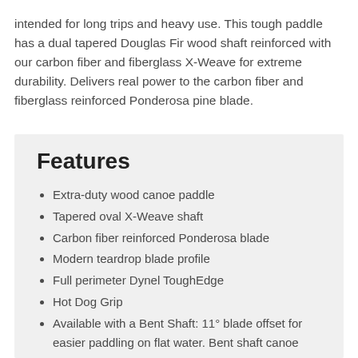intended for long trips and heavy use. This tough paddle has a dual tapered Douglas Fir wood shaft reinforced with our carbon fiber and fiberglass X-Weave for extreme durability. Delivers real power to the carbon fiber and fiberglass reinforced Ponderosa pine blade.
Features
Extra-duty wood canoe paddle
Tapered oval X-Weave shaft
Carbon fiber reinforced Ponderosa blade
Modern teardrop blade profile
Full perimeter Dynel ToughEdge
Hot Dog Grip
Available with a Bent Shaft: 11° blade offset for easier paddling on flat water. Bent shaft canoe paddles provide an efficient straight